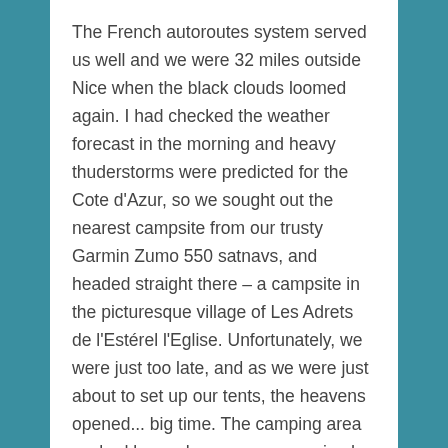The French autoroutes system served us well and we were 32 miles outside Nice when the black clouds loomed again. I had checked the weather forecast in the morning and heavy thuderstorms were predicted for the Cote d'Azur, so we sought out the nearest campsite from our trusty Garmin Zumo 550 satnavs, and headed straight there – a campsite in the picturesque village of Les Adrets de l'Estérel l'Eglise. Unfortunately, we were just too late, and as we were just about to set up our tents, the heavens opened... big time. The camping area we had been shown was on a raised bank in the trees – quite a nice spot, but by the time the storm had passed, the ground was soaking wet, and the tents were soaked through and muddy. Fortunately, as the ground was so warm, it